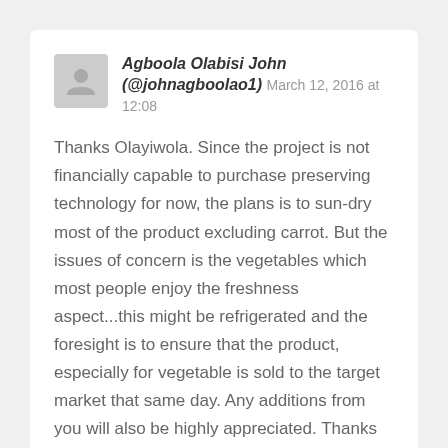Agboola Olabisi John (@johnagboolao1) March 12, 2016 at 12:08
Thanks Olayiwola. Since the project is not financially capable to purchase preserving technology for now, the plans is to sun-dry most of the product excluding carrot. But the issues of concern is the vegetables which most people enjoy the freshness aspect...this might be refrigerated and the foresight is to ensure that the product, especially for vegetable is sold to the target market that same day. Any additions from you will also be highly appreciated. Thanks man